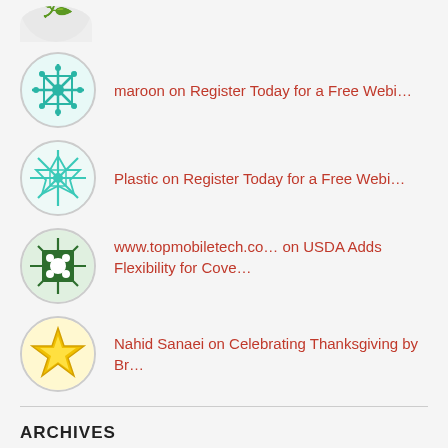maroon on Register Today for a Free Webi...
Plastic on Register Today for a Free Webi...
www.topmobiletech.co... on USDA Adds Flexibility for Cove...
Nahid Sanaei on Celebrating Thanksgiving by Br...
ARCHIVES
August 2022